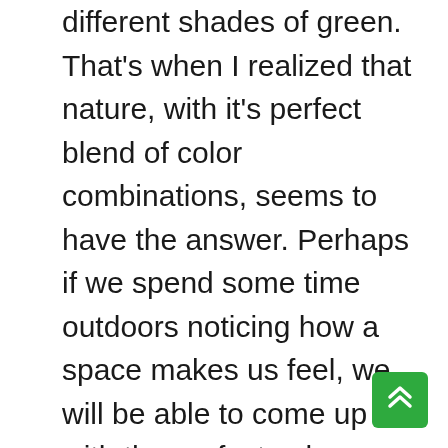different shades of green. That's when I realized that nature, with it's perfect blend of color combinations, seems to have the answer. Perhaps if we spend some time outdoors noticing how a space makes us feel, we will be able to come up with the perfect color combinations for every mood.
[Figure (other): Green scroll-to-top button with double chevron up arrow icon, positioned in the bottom-right corner]